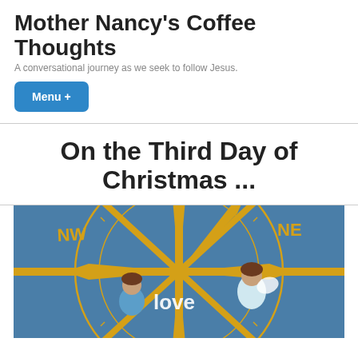Mother Nancy's Coffee Thoughts
A conversational journey as we seek to follow Jesus.
Menu +
On the Third Day of Christmas ...
[Figure (photo): Photo of nativity figurines placed in front of a compass rose mural with NW and NE labels visible on a blue and yellow background. Figurines include angel and child figures with a 'love' sign.]